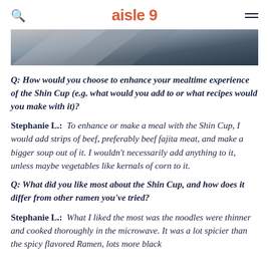aisle 9
[Figure (photo): Partial hero image showing dark gray and silver diagonal shapes, likely a product or lifestyle photo cropped at top]
Q: How would you choose to enhance your mealtime experience of the Shin Cup (e.g. what would you add to or what recipes would you make with it)?
Stephanie L.: To enhance or make a meal with the Shin Cup, I would add strips of beef, preferably beef fajita meat, and make a bigger soup out of it. I wouldn't necessarily add anything to it, unless maybe vegetables like kernals of corn to it.
Q: What did you like most about the Shin Cup, and how does it differ from other ramen you've tried?
Stephanie L.: What I liked the most was the noodles were thinner and cooked thoroughly in the microwave. It was a lot spicier than the spicy flavored Ramen, lots more black